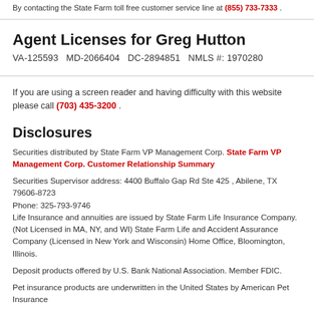By contacting the State Farm toll free customer service line at (855) 733-7333 .
Agent Licenses for Greg Hutton
VA-125593   MD-2066404   DC-2894851   NMLS #: 1970280
If you are using a screen reader and having difficulty with this website please call (703) 435-3200 .
Disclosures
Securities distributed by State Farm VP Management Corp. State Farm VP Management Corp. Customer Relationship Summary
Securities Supervisor address: 4400 Buffalo Gap Rd Ste 425 , Abilene, TX 79606-8723 Phone: 325-793-9746
Life Insurance and annuities are issued by State Farm Life Insurance Company. (Not Licensed in MA, NY, and WI) State Farm Life and Accident Assurance Company (Licensed in New York and Wisconsin) Home Office, Bloomington, Illinois.
Deposit products offered by U.S. Bank National Association. Member FDIC.
Pet insurance products are underwritten in the United States by American Pet Insurance